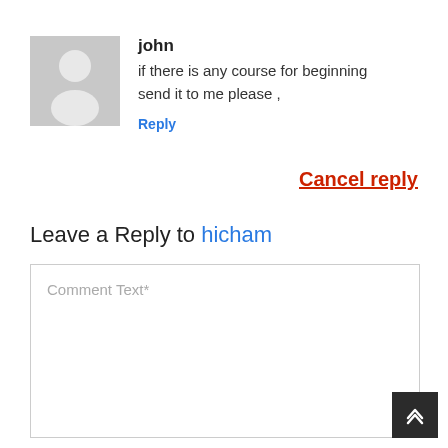[Figure (illustration): Grey avatar placeholder image of a person silhouette]
john
if there is any course for beginning send it to me please ,
Reply
Cancel reply
Leave a Reply to hicham
Comment Text*